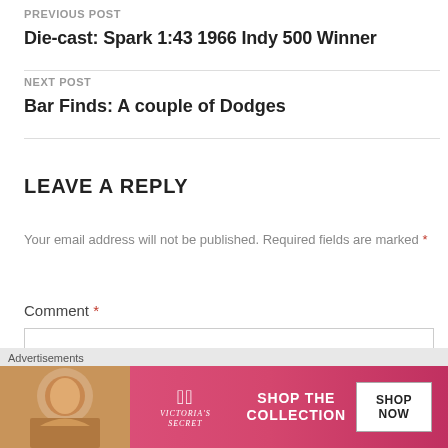PREVIOUS POST
Die-cast: Spark 1:43 1966 Indy 500 Winner
NEXT POST
Bar Finds: A couple of Dodges
LEAVE A REPLY
Your email address will not be published. Required fields are marked *
Comment *
[Figure (infographic): Victoria's Secret advertisement banner showing a woman, VS logo, 'SHOP THE COLLECTION' text, and 'SHOP NOW' button]